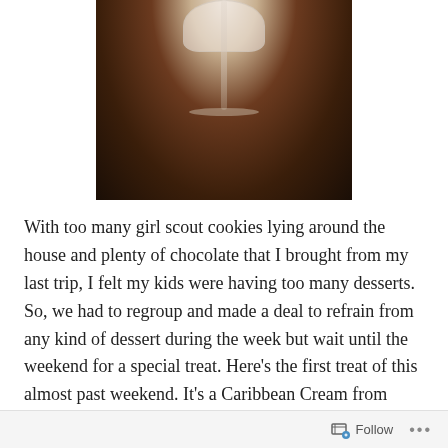[Figure (photo): A cocktail or dessert glass with a creamy white filling, photographed from above on a dark brown background, with the glass stem visible in the center.]
With too many girl scout cookies lying around the house and plenty of chocolate that I brought from my last trip, I felt my kids were having too many desserts. So, we had to regroup and made a deal to refrain from any kind of dessert during the week but wait until the weekend for a special treat. Here’s the first treat of this almost past weekend. It’s a Caribbean Cream from Nigella’s `Nigella Express’. I modified it too much because I was missing
Follow …